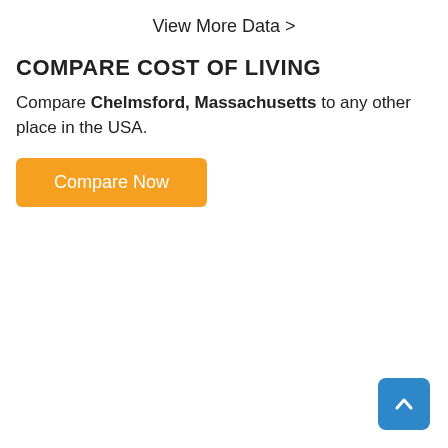View More Data >
COMPARE COST OF LIVING
Compare Chelmsford, Massachusetts to any other place in the USA.
Compare Now